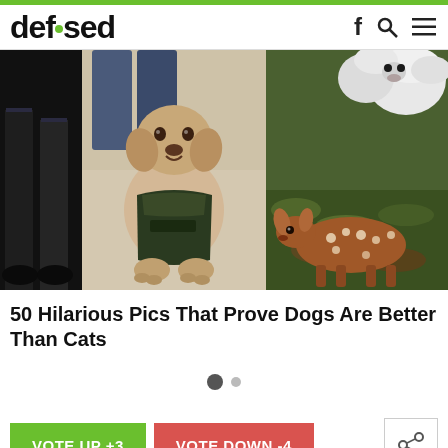defused
[Figure (photo): Three-panel image strip: left panel shows dark legs/feet against black background, center panel shows a yellow Labrador puppy sitting and wearing a dark service vest, right panel shows a white fluffy dog next to a spotted fawn lying in grass/leaves.]
50 Hilarious Pics That Prove Dogs Are Better Than Cats
[Figure (other): Pagination indicator with two dots: one large filled dark circle and one smaller grey circle.]
VOTE UP +3
VOTE DOWN -4